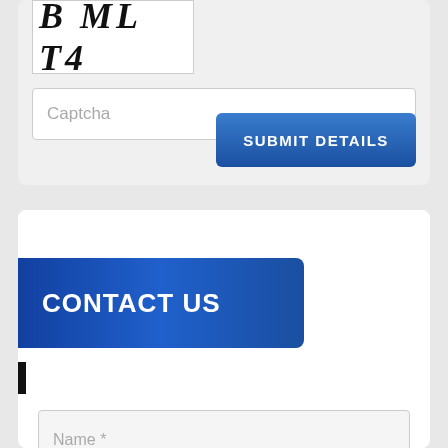[Figure (screenshot): CAPTCHA image showing text 'B ML T4' in italic serif font]
Captcha
SUBMIT DETAILS
CONTACT US
Name *
Email *